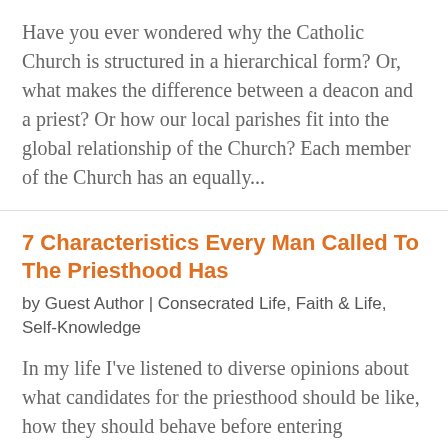Have you ever wondered why the Catholic Church is structured in a hierarchical form? Or, what makes the difference between a deacon and a priest? Or how our local parishes fit into the global relationship of the Church? Each member of the Church has an equally...
7 Characteristics Every Man Called To The Priesthood Has
by Guest Author | Consecrated Life, Faith & Life, Self-Knowledge
In my life I've listened to diverse opinions about what candidates for the priesthood should be like, how they should behave before entering